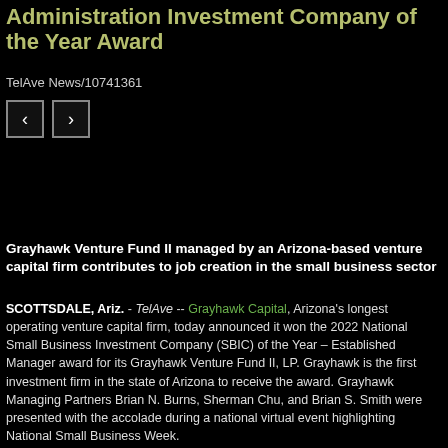Administration Investment Company of the Year Award
TelAve News/10741361
Grayhawk Venture Fund II managed by an Arizona-based venture capital firm contributes to job creation in the small business sector
SCOTTSDALE, Ariz. - TelAve -- Grayhawk Capital, Arizona's longest operating venture capital firm, today announced it won the 2022 National Small Business Investment Company (SBIC) of the Year – Established Manager award for its Grayhawk Venture Fund II, LP. Grayhawk is the first investment firm in the state of Arizona to receive the award. Grayhawk Managing Partners Brian N. Burns, Sherman Chu, and Brian S. Smith were presented with the accolade during a national virtual event highlighting National Small Business Week.
"We're grateful to be a part of the SBIC Program that plays a significant role in creating